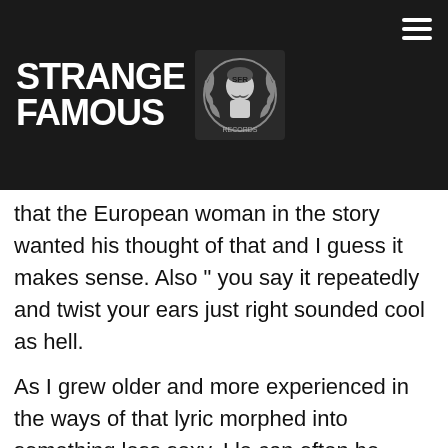Strange Famous Records
that the European woman in the story wanted his thought of that and I guess it makes sense. Also “ you say it repeatedly and twist your ears just right sounded cool as hell.
As I grew older and more experienced in the ways of that lyric morphed into something less sexy. I le can often be agonizing. People can tend to treat t can be the agony or the exchange of agony. Phys wanted my agony in her body.”
Controller 7 did the beat for “Agony in her Body,” so incredibly well in all aspects. From the sound o